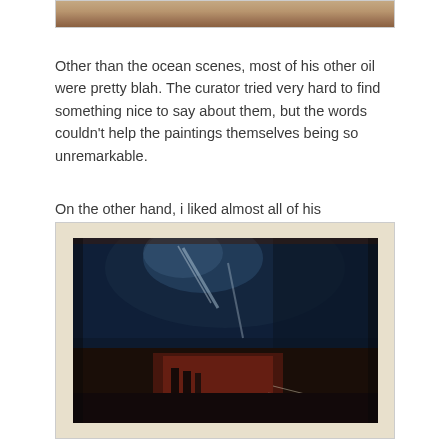[Figure (photo): Partial top view of an animal (fur texture visible), cropped at top of page]
Other than the ocean scenes, most of his other oil were pretty blah. The curator tried very hard to find something nice to say about them, but the words couldn't help the paintings themselves being so unremarkable.
On the other hand, i liked almost all of his watercolors.
[Figure (photo): A dark watercolor painting with deep blue and dark tones, showing a dramatic night scene with faint light streaks and reddish lower portion, likely a Turner-style watercolor sketch]